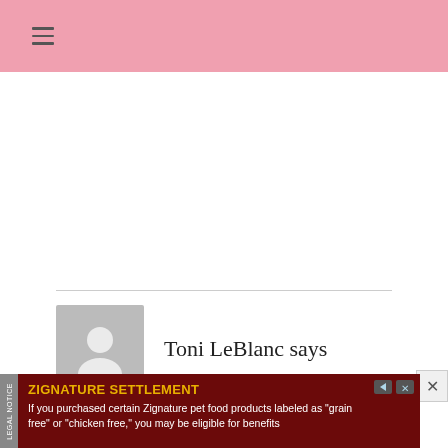≡
Toni LeBlanc says
September 18, 2013 at 6:49 am
I am looking forward to hearing from you.
[Figure (other): Advertisement banner for Zignature Settlement legal notice: 'ZIGNATURE SETTLEMENT - If you purchased certain Zignature pet food products labeled as "grain free" or "chicken free," you may be eligible for benefits']